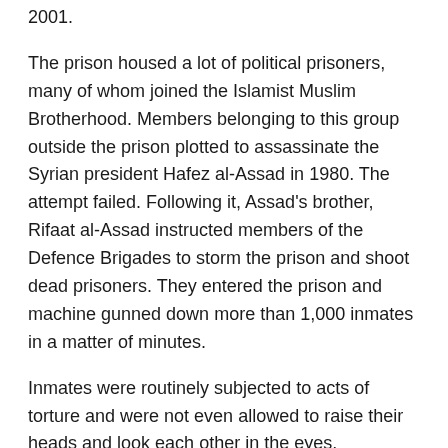2001.
The prison housed a lot of political prisoners, many of whom joined the Islamist Muslim Brotherhood. Members belonging to this group outside the prison plotted to assassinate the Syrian president Hafez al-Assad in 1980. The attempt failed. Following it, Assad's brother, Rifaat al-Assad instructed members of the Defence Brigades to storm the prison and shoot dead prisoners. They entered the prison and machine gunned down more than 1,000 inmates in a matter of minutes.
Inmates were routinely subjected to acts of torture and were not even allowed to raise their heads and look each other in the eyes.
3. Newgate Prison, England
When it comes to notorious prisons, England might not spring to mind, but for 600 years, Newgate Prison was a place of terror and squalor, but most of all, it was a place of death.